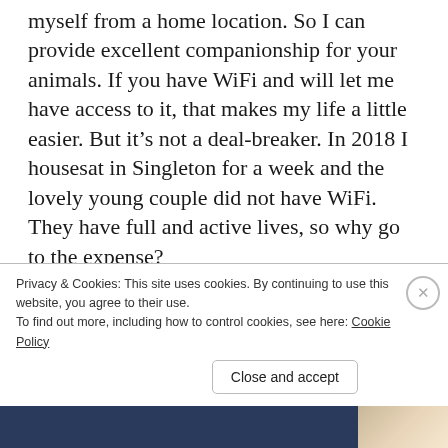myself from a home location. So I can provide excellent companionship for your animals. If you have WiFi and will let me have access to it, that makes my life a little easier. But it's not a deal-breaker. In 2018 I housesat in Singleton for a week and the lovely young couple did not have WiFi. They have full and active lives, so why go to the expense?
I could work out those dates in Singleton in about six seconds on the internet. I used my
Privacy & Cookies: This site uses cookies. By continuing to use this website, you agree to their use.
To find out more, including how to control cookies, see here: Cookie Policy